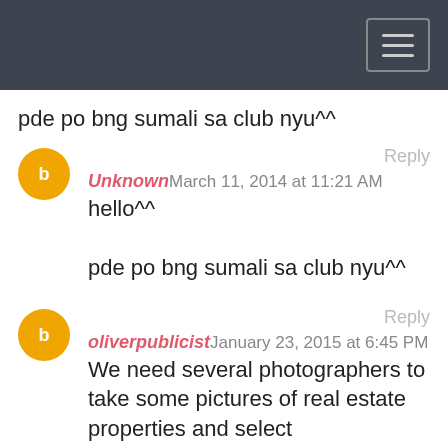pde po bng sumali sa club nyu^^
Reply
Unknown March 11, 2014 at 11:21 AM
hello^^

pde po bng sumali sa club nyu^^
Reply
oliverpublicist January 23, 2015 at 6:45 PM
We need several photographers to take some pictures of real estate properties and select neighborhoods across the Philippines; please email link to